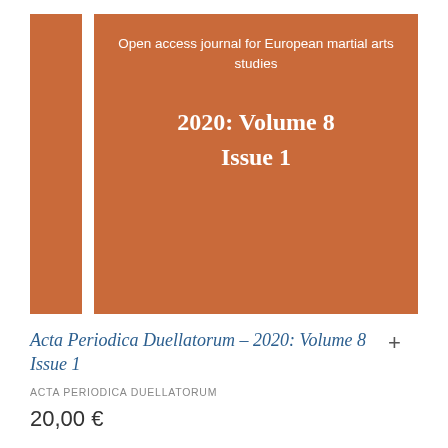[Figure (illustration): Book cover for Acta Periodica Duellatorum 2020 Volume 8 Issue 1. Orange/terracotta background with a white vertical divider strip on the left side. Text on the cover reads 'Open access journal for European martial arts studies' and '2020: Volume 8 Issue 1' in white.]
Acta Periodica Duellatorum – 2020: Volume 8 Issue 1
ACTA PERIODICA DUELLATORUM
20,00 €